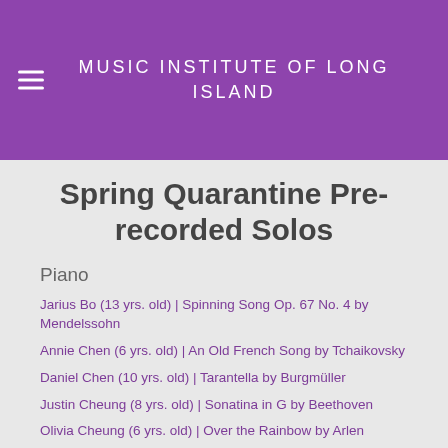MUSIC INSTITUTE OF LONG ISLAND
Spring Quarantine Pre-recorded Solos
Piano
Jarius Bo (13 yrs. old) | Spinning Song Op. 67 No. 4 by Mendelssohn
Annie Chen (6 yrs. old) | An Old French Song by Tchaikovsky
Daniel Chen (10 yrs. old) | Tarantella by Burgmüller
Justin Cheung (8 yrs. old) | Sonatina in G by Beethoven
Olivia Cheung (6 yrs. old) | Over the Rainbow by Arlen
Ariana Chin (7 yrs. old) | Für Elise by Beethoven
Kennedy Chong (9 yrs. old) | Sonatina in G Major by Beethoven